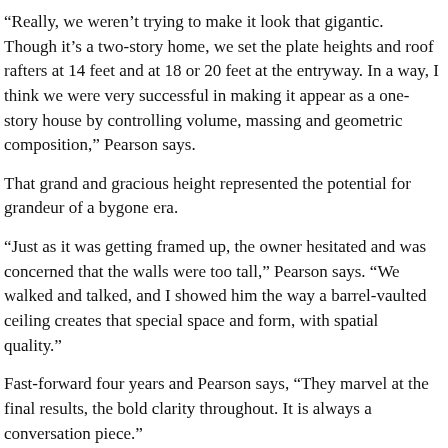“Really, we weren’t trying to make it look that gigantic. Though it’s a two-story home, we set the plate heights and roof rafters at 14 feet and at 18 or 20 feet at the entryway. In a way, I think we were very successful in making it appear as a one-story house by controlling volume, massing and geometric composition,” Pearson says.
That grand and gracious height represented the potential for grandeur of a bygone era.
“Just as it was getting framed up, the owner hesitated and was concerned that the walls were too tall,” Pearson says. “We walked and talked, and I showed him the way a barrel-vaulted ceiling creates that special space and form, with spatial quality.”
Fast-forward four years and Pearson says, “They marvel at the final results, the bold clarity throughout. It is always a conversation piece.”
On first approach to the home’s valet-styled sweeping driveway, five-car garage and two-car porte cochere, visitors are often struck by the sculpture at the front door as well as the polished and curated feel the